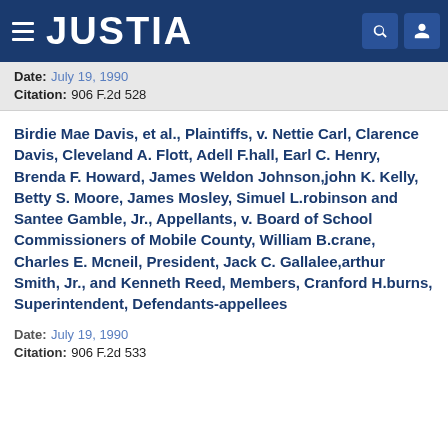JUSTIA
Date: July 19, 1990
Citation: 906 F.2d 528
Birdie Mae Davis, et al., Plaintiffs, v. Nettie Carl, Clarence Davis, Cleveland A. Flott, Adell F.hall, Earl C. Henry, Brenda F. Howard, James Weldon Johnson,john K. Kelly, Betty S. Moore, James Mosley, Simuel L.robinson and Santee Gamble, Jr., Appellants, v. Board of School Commissioners of Mobile County, William B.crane, Charles E. Mcneil, President, Jack C. Gallalee,arthur Smith, Jr., and Kenneth Reed, Members, Cranford H.burns, Superintendent, Defendants-appellees
Date: July 19, 1990
Citation: 906 F.2d 533